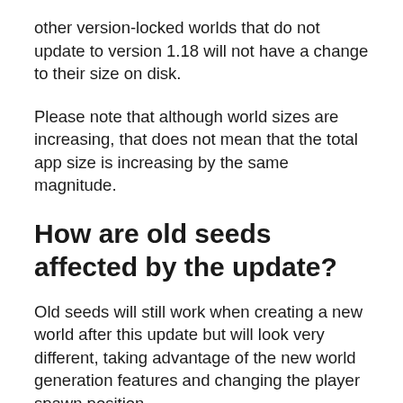other version-locked worlds that do not update to version 1.18 will not have a change to their size on disk.
Please note that although world sizes are increasing, that does not mean that the total app size is increasing by the same magnitude.
How are old seeds affected by the update?
Old seeds will still work when creating a new world after this update but will look very different, taking advantage of the new world generation features and changing the player spawn position.
Creators should note that if they are version locked to an old version of the game their seeds will work